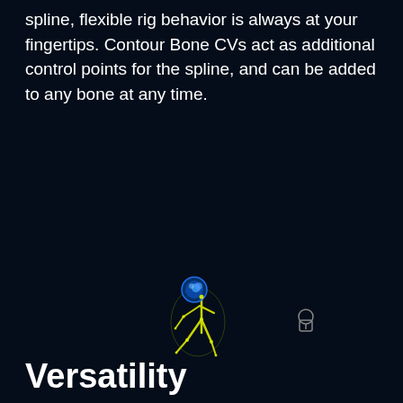spline, flexible rig behavior is always at your fingertips. Contour Bone CVs act as additional control points for the spline, and can be added to any bone at any time.
[Figure (screenshot): Dark background screenshot showing a glowing blue and yellow skeletal rig figure (character bone structure) in a 2D animation software viewport. A small icon appears to the right of the figure.]
Versatility